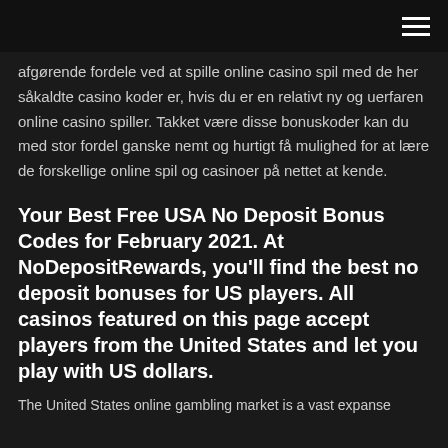hamburger menu icon
afgørende fordele ved at spille online casino spil med de her såkaldte casino koder er, hvis du er en relativt ny og uerfaren online casino spiller. Takket være disse bonuskoder kan du med stor fordel ganske nemt og hurtigt få mulighed for at lære de forskellige online spil og casinoer på nettet at kende.
Your Best Free USA No Deposit Bonus Codes for February 2021. At NoDepositRewards, you'll find the best no deposit bonuses for US players. All casinos featured on this page accept players from the United States and let you play with US dollars.
The United States online gambling market is a vast expanse